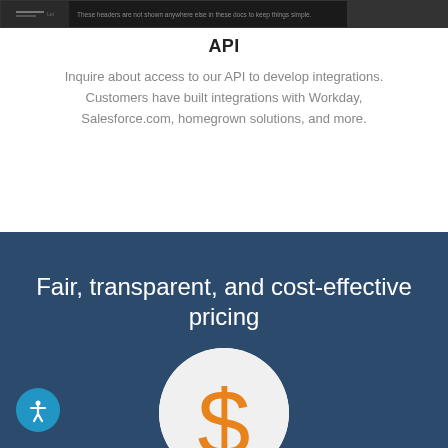[Figure (screenshot): Screenshot thumbnail of a dark UI with headers note text and a dark right panel]
API
Inquire about access to our API to develop integrations. Customers have built integrations with Workday, Salesforce.com, homegrown solutions, and more.
Fair, transparent, and cost-effective pricing
[Figure (illustration): White circle with an orange dollar sign icon, partially cropped at the bottom of the page]
[Figure (illustration): Blue circular accessibility icon (person with arms out) in bottom left corner]